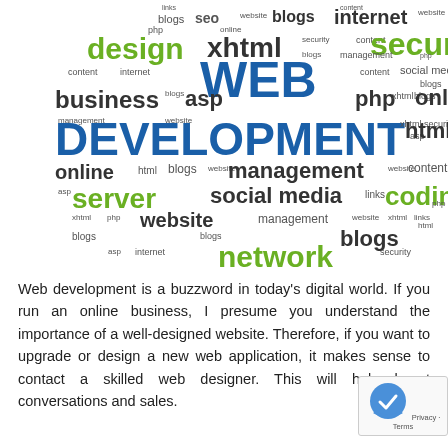[Figure (infographic): Word cloud related to web development topics including: WEB DEVELOPMENT (large blue), design (large green), security (large green), server (large green), coding (large green), network (large green), business, asp, php, xhtml, html, online, management, social media, website, blogs, internet, links, content, seo, etc.]
Web development is a buzzword in today's digital world. If you run an online business, I presume you understand the importance of a well-designed website. Therefore, if you want to upgrade or design a new web application, it makes sense to contact a skilled web designer. This will help boost conversations and sales.